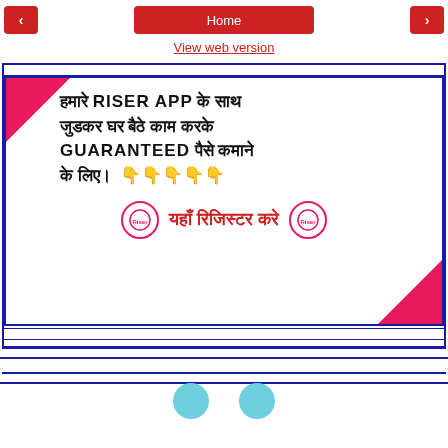< Home >
View web version
[Figure (infographic): Riser App advertisement in Hindi and English. Text reads: हमारे RISER APP के साथ जुडकर घर बैठे काम करके GUARANTEED पैसे कमाने के लिए। 👇👇👇👇👇 यहाँ रिजिस्टर करे. Pink corner decorations top-left and bottom-right. Two circular Riser app icons flanking register text.]